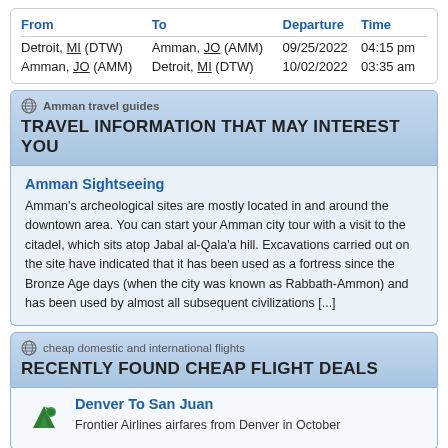| From | To | Departure | Time |
| --- | --- | --- | --- |
| Detroit, MI (DTW) | Amman, JO (AMM) | 09/25/2022 | 04:15 pm |
| Amman, JO (AMM) | Detroit, MI (DTW) | 10/02/2022 | 03:35 am |
Amman travel guides
TRAVEL INFORMATION THAT MAY INTEREST YOU
Amman Sightseeing
Amman's archeological sites are mostly located in and around the downtown area. You can start your Amman city tour with a visit to the citadel, which sits atop Jabal al-Qala'a hill. Excavations carried out on the site have indicated that it has been used as a fortress since the Bronze Age days (when the city was known as Rabbath-Ammon) and has been used by almost all subsequent civilizations [...]
cheap domestic and international flights
RECENTLY FOUND CHEAP FLIGHT DEALS
Denver To San Juan
Frontier Airlines airfares from Denver in October